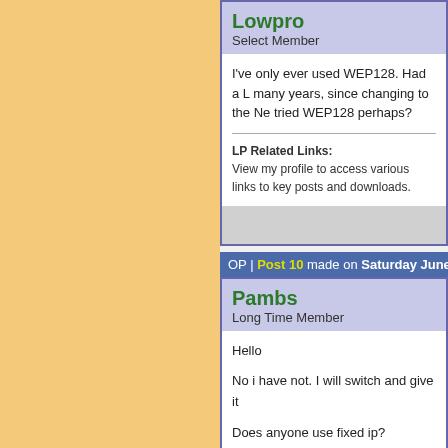Lowpro
Select Member
I've only ever used WEP128. Had a long run for many years, since changing to the Ne tried WEP128 perhaps?
LP Related Links:
View my profile to access various links to key posts and downloads.
OP | Post 10 made on Saturday June 20,
Pambs
Long Time Member
Hello

No i have not. I will switch and give it

Does anyone use fixed ip?